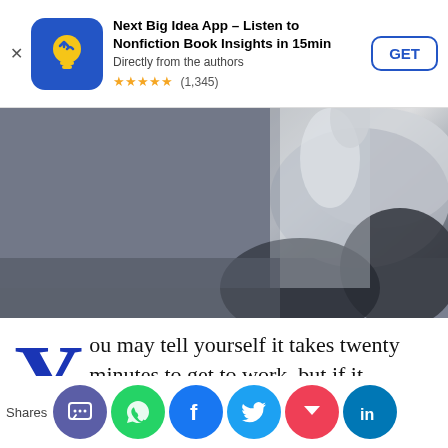[Figure (other): App advertisement banner: Next Big Idea App – Listen to Nonfiction Book Insights in 15min, Directly from the authors, 5 stars (1,345), GET button]
[Figure (photo): Close-up photo of a person in a white shirt and dark jacket, possibly looking through a window or reflective surface, black and white/monochrome tones]
You may tell yourself it takes twenty minutes to get to work, but if it actually takes forty minutes, you're going to be chronically late. Have you exactly identified the time by which you need to leave? Th... what... ked... me... gett... ny h...
Shares [social share icons: SMS, WhatsApp, Facebook, Twitter, Pocket, LinkedIn]